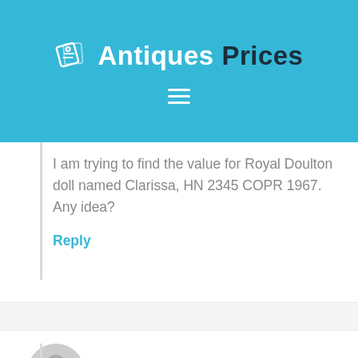Antiques Prices
I am trying to find the value for Royal Doulton doll named Clarissa, HN 2345 COPR 1967. Any idea?
Reply
Gale Yantek says:
I picked up a plate at a resale shop it has on the back has the number D. 6305. Is this one of a